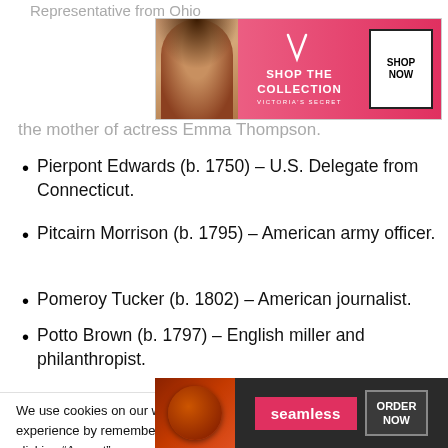Representative from Ohio
[Figure (screenshot): Victoria's Secret advertisement banner with pink background showing model, VS logo, 'SHOP THE COLLECTION' text and 'SHOP NOW' button]
the mother of actress Emma Thompson.
Pierpont Edwards (b. 1750) – U.S. Delegate from Connecticut.
Pitcairn Morrison (b. 1795) – American army officer.
Pomeroy Tucker (b. 1802) – American journalist.
Potto Brown (b. 1797) – English miller and philanthropist.
We use cookies on our website to give you the most relevant experience by remembering your preferences and repeat visits. By clicking “Accept”, you consent to the use of ALL the cookies.
Do not sell my personal information.
[Figure (screenshot): Seamless food delivery advertisement banner with dark background, pizza image, Seamless logo button and ORDER NOW button]